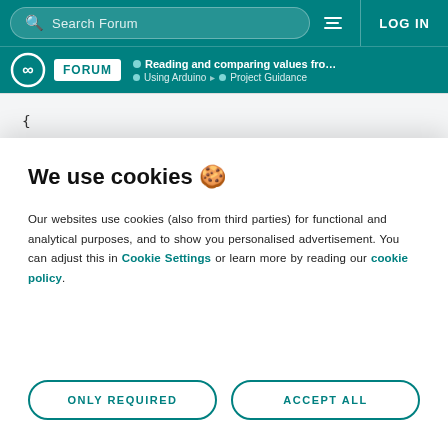Search Forum | LOG IN
FORUM | Reading and comparing values from a po... | Using Arduino > Project Guidance
{
    Serial.println("Increase Value");
  }
We use cookies 🍪
Our websites use cookies (also from third parties) for functional and analytical purposes, and to show you personalised advertisement. You can adjust this in Cookie Settings or learn more by reading our cookie policy.
ONLY REQUIRED | ACCEPT ALL